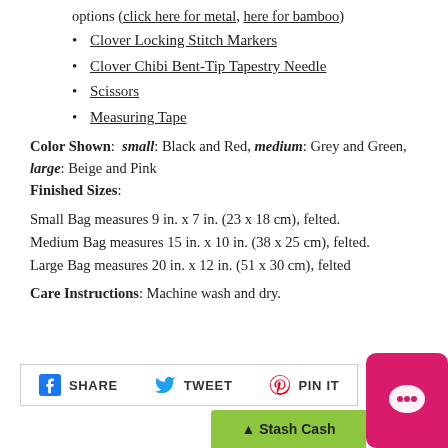options (click here for metal, here for bamboo)
Clover Locking Stitch Markers
Clover Chibi Bent-Tip Tapestry Needle
Scissors
Measuring Tape
Color Shown: small: Black and Red, medium: Grey and Green, large: Beige and Pink
Finished Sizes:
Small Bag measures 9 in. x 7 in. (23 x 18 cm), felted.
Medium Bag measures 15 in. x 10 in. (38 x 25 cm), felted.
Large Bag measures 20 in. x 12 in. (51 x 30 cm), felted
Care Instructions: Machine wash and dry.
[Figure (infographic): Social share buttons: SHARE (Facebook), TWEET (Twitter), PIN IT (Pinterest)]
[Figure (infographic): Pink chat bubble widget and green Stash Cash button in bottom right corner]